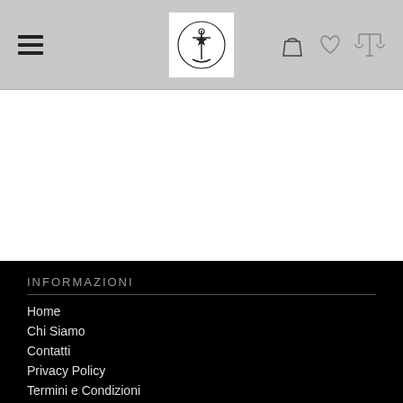[Figure (logo): Website header navigation bar with hamburger menu icon on the left, a circular logo with anchor and star in the center white box, and shopping bag, heart, and balance scale icons on the right, on a light gray background]
INFORMAZIONI
Home
Chi Siamo
Contatti
Privacy Policy
Termini e Condizioni